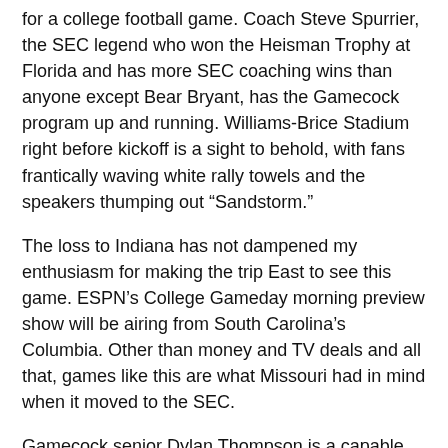for a college football game. Coach Steve Spurrier, the SEC legend who won the Heisman Trophy at Florida and has more SEC coaching wins than anyone except Bear Bryant, has the Gamecock program up and running. Williams-Brice Stadium right before kickoff is a sight to behold, with fans frantically waving white rally towels and the speakers thumping out “Sandstorm.”
The loss to Indiana has not dampened my enthusiasm for making the trip East to see this game. ESPN’s College Gameday morning preview show will be airing from South Carolina’s Columbia. Other than money and TV deals and all that, games like this are what Missouri had in mind when it moved to the SEC.
Gamecock senior Dylan Thompson is a capable quarterback. Running backs Mike Davis and Brandon Wilds give South Carolina options in the ground game. But the Gamecock defense is a work in progress, yielding 36.0 points per game.
South Carolina (3-1, 2-1 in SEC play) opened with a blowout